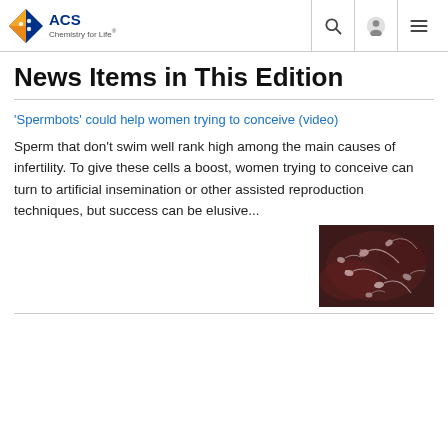ACS Chemistry for Life
News Items in This Edition
'Spermbots' could help women trying to conceive (video)
Sperm that don't swim well rank high among the main causes of infertility. To give these cells a boost, women trying to conceive can turn to artificial insemination or other assisted reproduction techniques, but success can be elusive...
[Figure (photo): Microscope image of sperm cells on dark reddish-purple background]